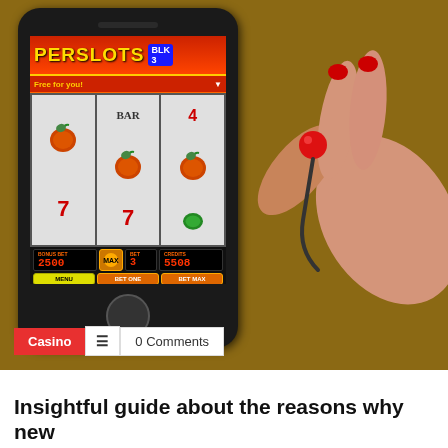[Figure (photo): A smartphone displaying a slot machine game app (SuperSlots) with three reels showing apples and 7s, credits display showing 2500 and 5508, with BET ONE and BET MAX buttons. A hand with red-painted fingernails holds what appears to be a small red ball or earphone near the phone's headphone jack.]
Insightful guide about the reasons why new